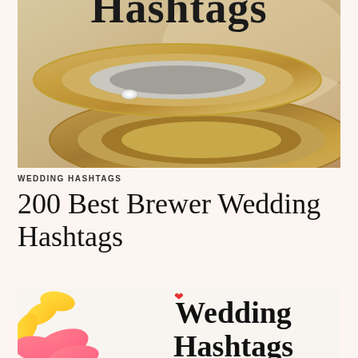[Figure (photo): Close-up photo of two gold wedding rings, partially cropped at top. One ring has a brushed silver center band with a small diamond. Text 'Hashtags' visible at top in large bold serif font overlaid on image.]
WEDDING HASHTAGS
200 Best Brewer Wedding Hashtags
[Figure (photo): Photo of a white card with 'Wedding Hashtags' in large bold serif font. Yellow and pink tulip flowers visible in bottom-left corner. Small red heart/logo at top center of card.]